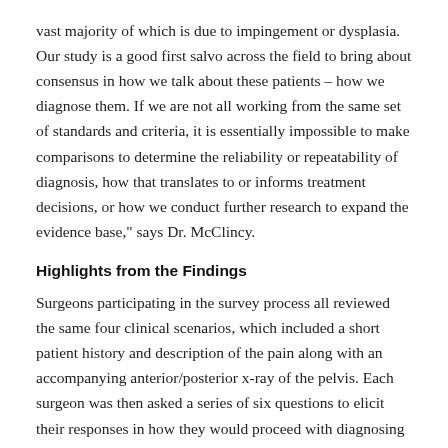vast majority of which is due to impingement or dysplasia. Our study is a good first salvo across the field to bring about consensus in how we talk about these patients – how we diagnose them. If we are not all working from the same set of standards and criteria, it is essentially impossible to make comparisons to determine the reliability or repeatability of diagnosis, how that translates to or informs treatment decisions, or how we conduct further research to expand the evidence base," says Dr. McClincy.
Highlights from the Findings
Surgeons participating in the survey process all reviewed the same four clinical scenarios, which included a short patient history and description of the pain along with an accompanying anterior/posterior x-ray of the pelvis. Each surgeon was then asked a series of six questions to elicit their responses in how they would proceed with diagnosing the patient. These questions included what historical patient information would be queried, the nature of physical